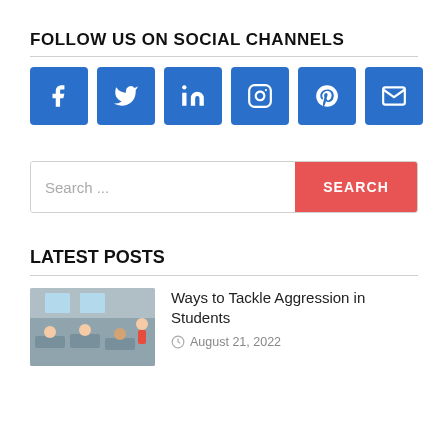FOLLOW US ON SOCIAL CHANNELS
[Figure (infographic): Six social media icon buttons (Facebook, Twitter, LinkedIn, Instagram, Pinterest, Email) in blue square buttons]
[Figure (screenshot): Search bar with placeholder text 'Search ...' and a red SEARCH button]
LATEST POSTS
[Figure (photo): Thumbnail photo of students in a classroom]
Ways to Tackle Aggression in Students
August 21, 2022